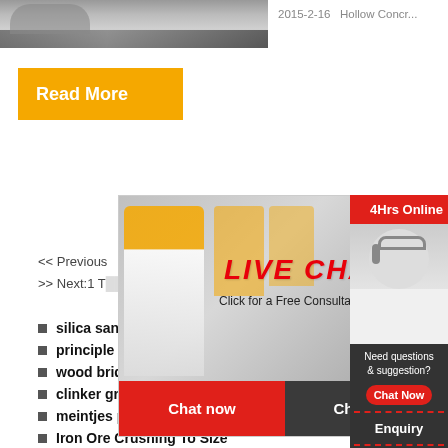[Figure (photo): Construction/asphalt paving photo at top left]
2015-2-16    Hollow Concr...
Read More
<< Previous
>> Next:1 T...
[Figure (screenshot): Live chat popup overlay with construction workers photo, LIVE CHAT title, Chat now and Chat later buttons]
[Figure (photo): Customer service agent with headset on right sidebar, 24Hrs Online banner, Need questions & suggestion, Chat Now button, Enquiry, limingjlmofen]
silica sand rajasthan
principle ring working
wood briquette manufacturers
clinker grinding unit india
meintjes plant hire quarry
Iron Ore Crushing To Size
portable gold ore cone crusher price ma...
Asphalt trailer Asphalt sprayer Asphalt D...